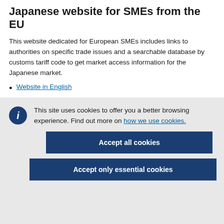Japanese website for SMEs from the EU
This website dedicated for European SMEs includes links to authorities on specific trade issues and a searchable database by customs tariff code to get market access information for the Japanese market.
Website in English
This site uses cookies to offer you a better browsing experience. Find out more on how we use cookies.
Accept all cookies
Accept only essential cookies